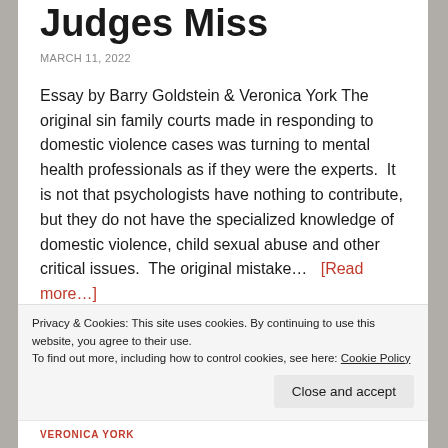Judges Miss
MARCH 11, 2022
Essay by Barry Goldstein & Veronica York The original sin family courts made in responding to domestic violence cases was turning to mental health professionals as if they were the experts.  It is not that psychologists have nothing to contribute, but they do not have the specialized knowledge of domestic violence, child sexual abuse and other critical issues.  The original mistake… [Read more…]
Privacy & Cookies: This site uses cookies. By continuing to use this website, you agree to their use.
To find out more, including how to control cookies, see here: Cookie Policy
Close and accept
VERONICA YORK